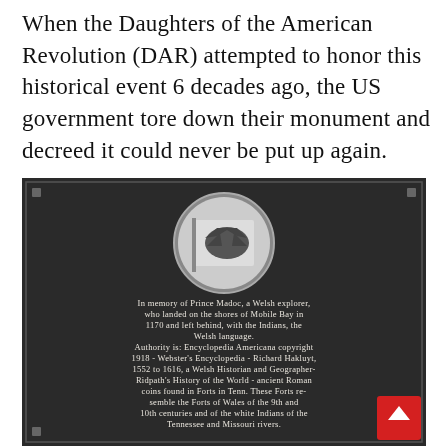When the Daughters of the American Revolution (DAR) attempted to honor this historical event 6 decades ago, the US government tore down their monument and decreed it could never be put up again.
[Figure (photo): Black and white photograph of a bronze memorial plaque with a circular emblem at the top showing a Welsh dragon on a flag. The plaque text reads: 'In memory of Prince Madoc, a Welsh explorer, who landed on the shores of Mobile Bay in 1170 and left behind, with the Indians, the Welsh language. Authority is: Encyclopedia Americana copyright 1918 - Webster's Encyclopedia - Richard Hakluyt, 1552 to 1616, a Welsh Historian and Geographer- Ridpath's History of the World - ancient Roman coins found in Forts in Tenn. These Forts resemble the Forts of Wales of the 9th and 10th centuries and of the white Indians of the Tennessee and Missouri rivers.' A red scroll-to-top button is visible in the lower right corner.]